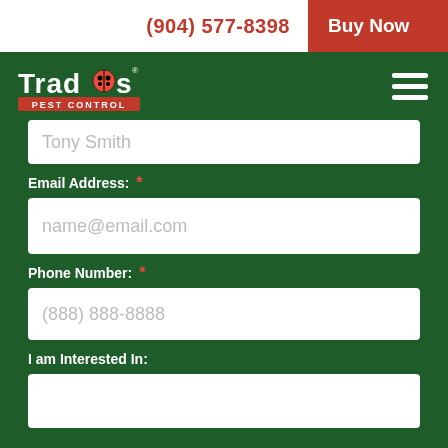(904) 577-8398   Buy Now
[Figure (logo): Trad's Pest Control logo in white on dark green background]
Tony Smith
Email Address: *
name@email.com
Phone Number: *
(888) 888-8888
I am Interested In: